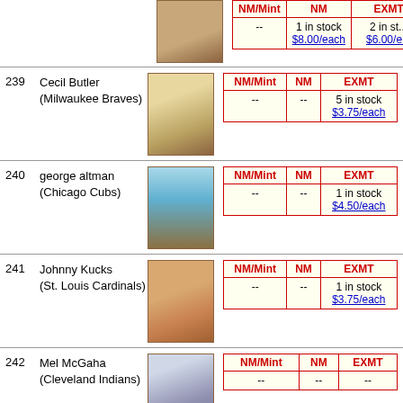| NM/Mint | NM | EXMT |
| --- | --- | --- |
| -- | -- | 1 in stock $8.00/each | 2 in stock $6.00/each |
239 Cecil Butler (Milwaukee Braves)
| NM/Mint | NM | EXMT |
| --- | --- | --- |
| -- | -- | 5 in stock $3.75/each |
240 george altman (Chicago Cubs)
| NM/Mint | NM | EXMT |
| --- | --- | --- |
| -- | -- | 1 in stock $4.50/each |
241 Johnny Kucks (St. Louis Cardinals)
| NM/Mint | NM | EXMT |
| --- | --- | --- |
| -- | -- | 1 in stock $3.75/each |
242 Mel McGaha (Cleveland Indians)
| NM/Mint | NM | EXMT |
| --- | --- | --- |
| -- | -- | -- |